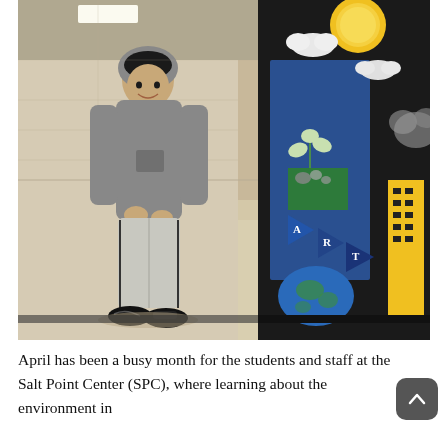[Figure (photo): A student wearing a grey hoodie and sweatpants stands in a school hallway next to a colorful bulletin board display with art decorations including a yellow sun, clouds, pennant banners spelling ART, and a blue earth, mounted on a black background panel.]
April has been a busy month for the students and staff at the Salt Point Center (SPC), where learning about the environment in